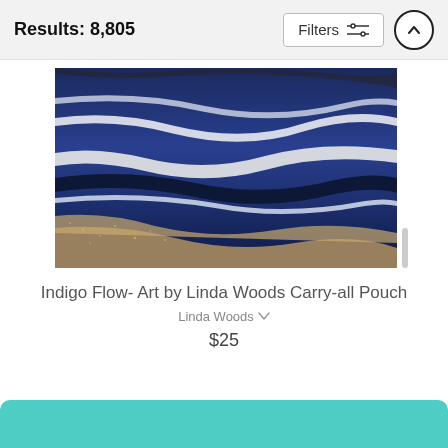Results: 8,805
Filters
[Figure (photo): Abstract fluid art painting with swirling indigo blue, white, and golden/tan colors resembling flowing water or marble texture – product image for 'Indigo Flow' carry-all pouch]
Indigo Flow- Art by Linda Woods Carry-all Pouch
Linda Woods
$25